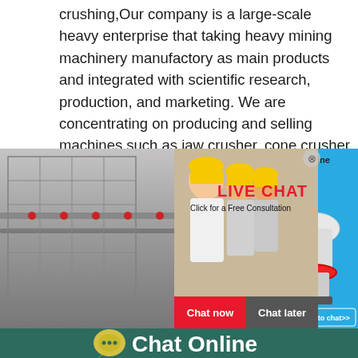crushing,Our company is a large-scale heavy enterprise that taking heavy mining machinery manufactory as main products and integrated with scientific research, production, and marketing. We are concentrating on producing and selling machines such as jaw crusher, cone crusher, hammer crusher, ball mill, sand maker, mobile crushing plant
[Figure (screenshot): Live chat popup overlay showing workers in hard hats, LIVE CHAT heading in red, 'Click for a Free Consultation' subtitle, Chat now (red) and Chat later (grey) buttons. Background shows industrial machinery/conveyor. Right side shows blue panel with cone crusher image and 'Click me to chat>>' button. Bottom shows teal footer with Chat Online text and chat bubble icon.]